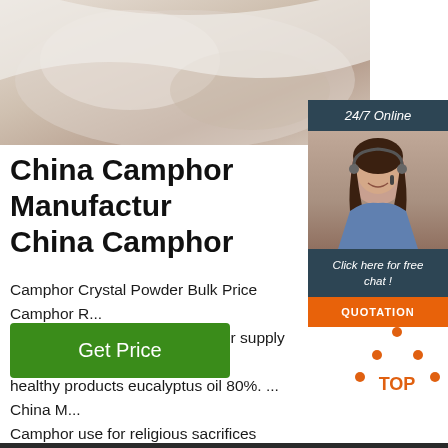[Figure (photo): Product image showing white powder or fabric material, soft grey/beige tones]
[Figure (infographic): 24/7 Online chat widget with female customer service agent wearing headset, dark blue background, orange QUOTATION button]
China Camphor Manufactur China Camphor
Camphor Crystal Powder Bulk Price Camphor R... Factory ... Chinese manufacturer supply cosmeti... healthy products eucalyptus oil 80%. ... China M... Camphor use for religious sacrifices smokeless c... praying Product 100g Camphor for Praying Mate... Camphor and 70 % C ombustion improver Carton QTY 100 bags CTN ...
[Figure (other): Get Price green button]
[Figure (other): TOP icon with orange dots forming a triangle above orange text TOP]